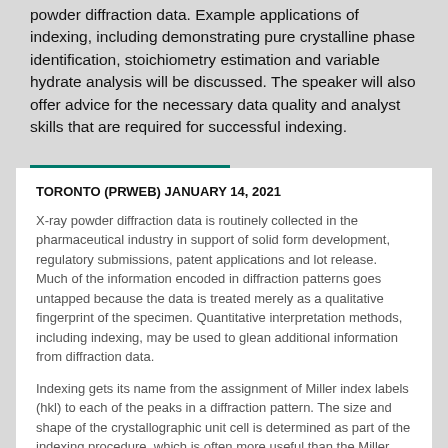powder diffraction data. Example applications of indexing, including demonstrating pure crystalline phase identification, stoichiometry estimation and variable hydrate analysis will be discussed. The speaker will also offer advice for the necessary data quality and analyst skills that are required for successful indexing.
TORONTO (PRWEB) JANUARY 14, 2021
X-ray powder diffraction data is routinely collected in the pharmaceutical industry in support of solid form development, regulatory submissions, patent applications and lot release. Much of the information encoded in diffraction patterns goes untapped because the data is treated merely as a qualitative fingerprint of the specimen. Quantitative interpretation methods, including indexing, may be used to glean additional information from diffraction data.
Indexing gets its name from the assignment of Miller index labels (hkl) to each of the peaks in a diffraction pattern. The size and shape of the crystallographic unit cell is determined as part of the indexing procedure, which is often more useful than the Miller indices themselves. Applications of indexing include pure crystalline phase identification, stoichiometry estimation